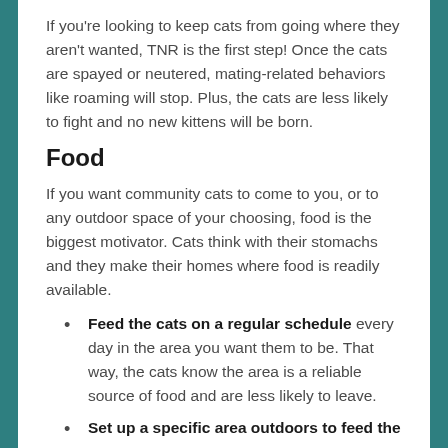If you're looking to keep cats from going where they aren't wanted, TNR is the first step! Once the cats are spayed or neutered, mating-related behaviors like roaming will stop. Plus, the cats are less likely to fight and no new kittens will be born.
Food
If you want community cats to come to you, or to any outdoor space of your choosing, food is the biggest motivator. Cats think with their stomachs and they make their homes where food is readily available.
Feed the cats on a regular schedule every day in the area you want them to be. That way, the cats know the area is a reliable source of food and are less likely to leave.
Set up a specific area outdoors to feed the